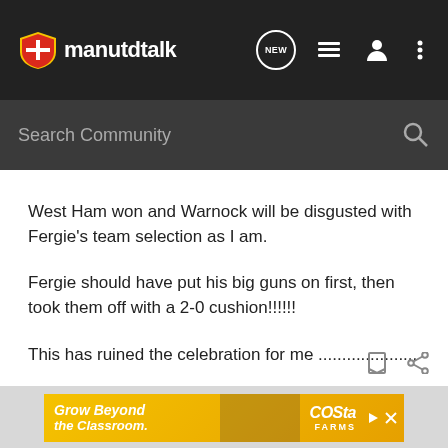manutdtalk
Search Community
West Ham won and Warnock will be disgusted with Fergie's team selection as I am.
Fergie should have put his big guns on first, then took them off with a 2-0 cushion!!!!!!
This has ruined the celebration for me .....................
[Figure (other): Costa Farms advertisement banner: Grow Beyond the Classroom.]